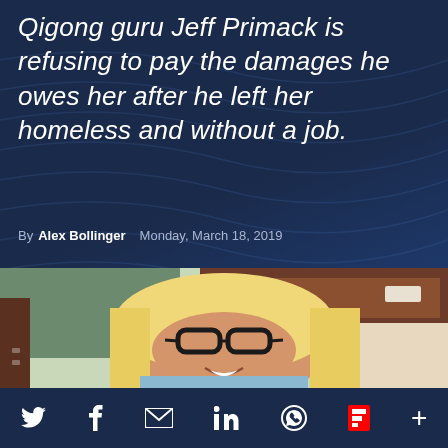Qigong guru Jeff Primack is refusing to pay the damages he owes her after he left her homeless and without a job.
By Alex Bollinger   Monday, March 18, 2019
[Figure (photo): Smiling blonde woman with glasses wearing a light blue top, taking a selfie indoors near wooden furniture]
[Figure (infographic): Social media share icons bar at bottom: Twitter (bird), Facebook (f), Email (envelope), LinkedIn (in), WhatsApp, Flipboard (F), More (+)]